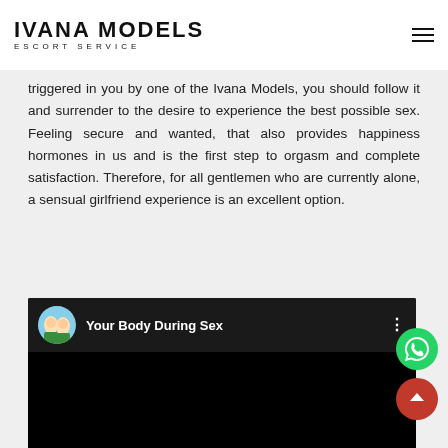IVANA MODELS ESCORT SERVICE
triggered in you by one of the Ivana Models, you should follow it and surrender to the desire to experience the best possible sex. Feeling secure and wanted, that also provides happiness hormones in us and is the first step to orgasm and complete satisfaction. Therefore, for all gentlemen who are currently alone, a sensual girlfriend experience is an excellent option.
[Figure (screenshot): YouTube-style video embed with dark top bar showing a circular avatar thumbnail with two people, title 'Your Body During Sex', a three-dot menu icon, and a black video area below.]